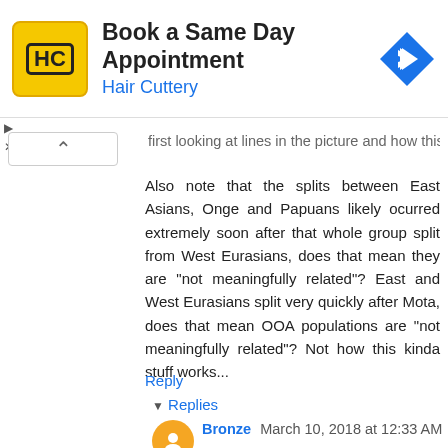[Figure (infographic): Hair Cuttery advertisement banner with yellow logo, 'Book a Same Day Appointment' headline, 'Hair Cuttery' subtitle in blue, and a blue diamond navigation arrow icon on the right.]
first looking at lines in the picture and how this.
Also note that the splits between East Asians, Onge and Papuans likely ocurred extremely soon after that whole group split from West Eurasians, does that mean they are "not meaningfully related"? East and West Eurasians split very quickly after Mota, does that mean OOA populations are "not meaningfully related"? Not how this kinda stuff works...
Reply
▾ Replies
Bronze  March 10, 2018 at 12:33 AM
Its you who are dumb, listen to yourself, In that very same post you claimed that "east asians papuans and Onge are all meaningfully related" which shows you are completely obese to the